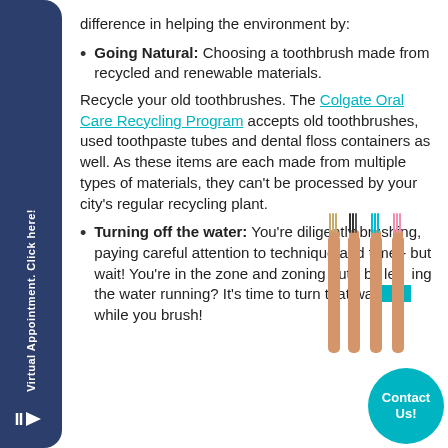difference in helping the environment by:
Going Natural: Choosing a toothbrush made from recycled and renewable materials.
Recycle your old toothbrushes. The Colgate Oral Care Recycling Program accepts old toothbrushes, used toothpaste tubes and dental floss containers as well. As these items are each made from multiple types of materials, they can't be processed by your city's regular recycling plant.
[Figure (photo): Four bamboo toothbrushes with different colored bristles (tan/natural, black, blue, pink) arranged side by side]
Turning off the water: You're diligently brushing, paying careful attention to technique and time - but wait! You're in the zone and zoning out - by leaving the water running? It's time to turn that water off while you brush!